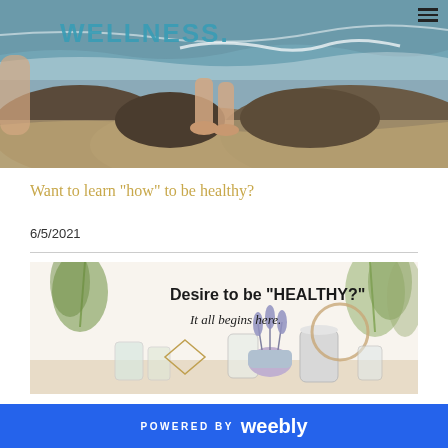WELLNESS.
[Figure (photo): Person walking barefoot on rocky coastal terrain with ocean waves in background; WELLNESS. text overlay in teal]
Want to learn "how" to be healthy?
6/5/2021
[Figure (photo): Herbal wellness image with text: Desire to be "HEALTHY?" It all begins here. Dried herbs, glass jars, and lavender arrangement on white background]
POWERED BY weebly